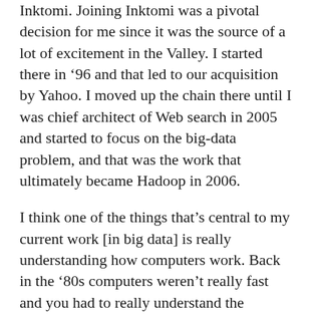Inktomi. Joining Inktomi was a pivotal decision for me since it was the source of a lot of excitement in the Valley. I started there in ‘96 and that led to our acquisition by Yahoo. I moved up the chain there until I was chief architect of Web search in 2005 and started to focus on the big-data problem, and that was the work that ultimately became Hadoop in 2006.
I think one of the things that’s central to my current work [in big data] is really understanding how computers work. Back in the ‘80s computers weren’t really fast and you had to really understand the machine very well to get as much out of it as you could. In the work I was doing in video and games the same applied, you had to understand the machine. That led to a natural transition to doing the work in search, where you wanted to